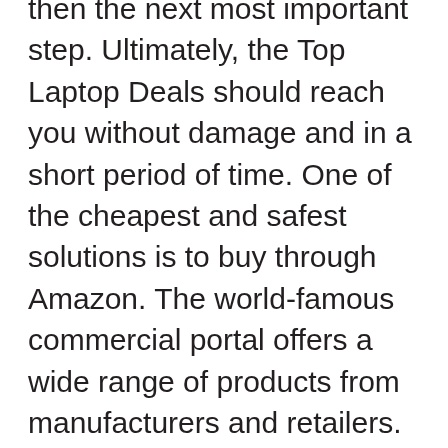then the next most important step. Ultimately, the Top Laptop Deals should reach you without damage and in a short period of time. One of the cheapest and safest solutions is to buy through Amazon. The world-famous commercial portal offers a wide range of products from manufacturers and retailers. In certain cases and after reading the description of the Top Laptop Deals you can buy the desired Top Laptop Deals in very good condition. This is especially interesting if you have a lower budget or simply want to spend less money on an item. The advantage of such an offer is that the seller at Amazon has to describe the signs of use very precisely. The bad surprises are almost eliminated. Buy Top Laptop Deals safely and conveniently in the quality you